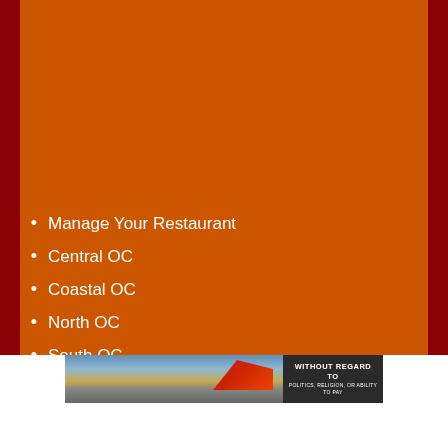Manage Your Restaurant
Central OC
Coastal OC
North OC
South OC
[Figure (photo): Banner advertisement showing airplane cargo loading scene with text 'WITHOUT REGARD TO POLITICS, RELIGION, OR ABILITY TO PAY' on dark background]